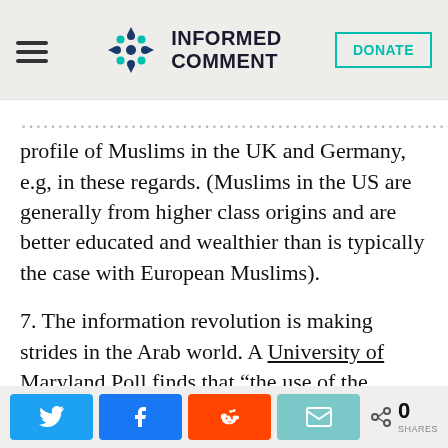Informed Comment
profile of Muslims in the UK and Germany, e.g, in these regards. (Muslims in the US are generally from higher class origins and are better educated and wealthier than is typically the case with European Muslims).
7. The information revolution is making strides in the Arab world. A University of Maryland Poll finds that “the use of the internet continued to grow, with 36% stating that they use the internet at least several